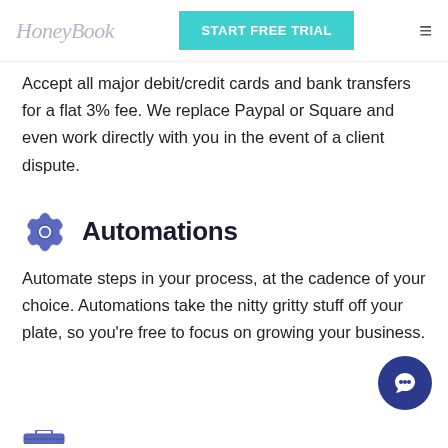HoneyBook | START FREE TRIAL
Accept all major debit/credit cards and bank transfers for a flat 3% fee. We replace Paypal or Square and even work directly with you in the event of a client dispute.
Automations
Automate steps in your process, at the cadence of your choice. Automations take the nitty gritty stuff off your plate, so you're free to focus on growing your business.